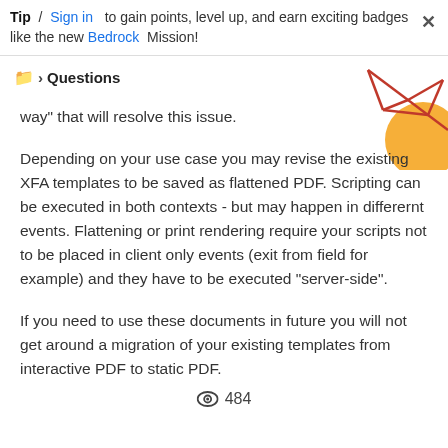Tip / Sign in to gain points, level up, and earn exciting badges like the new Bedrock Mission!
Questions
way" that will resolve this issue.

Depending on your use case you may revise the existing XFA templates to be saved as flattened PDF. Scripting can be executed in both contexts - but may happen in differernt events. Flattening or print rendering require your scripts not to be placed in client only events (exit from field for example) and they have to be executed "server-side".

If you need to use these documents in future you will not get around a migration of your existing templates from interactive PDF to static PDF.
484